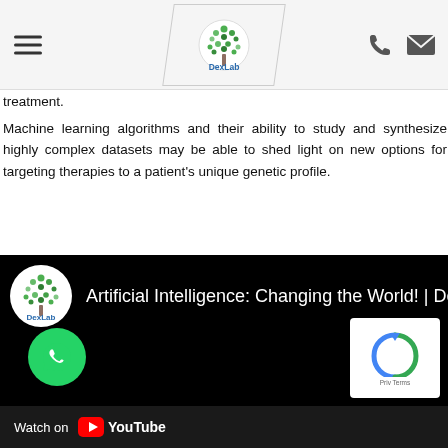DexLab
treatment.
Machine learning algorithms and their ability to study and synthesize highly complex datasets may be able to shed light on new options for targeting therapies to a patient's unique genetic profile.
[Figure (screenshot): Embedded YouTube video thumbnail with DexLab logo icon and title 'Artificial Intelligence: Changing the World! | Dexla' on black background, with Watch on YouTube bar at bottom, WhatsApp icon, and reCAPTCHA privacy overlay.]